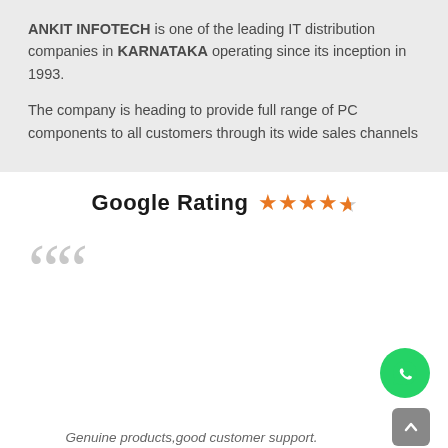ANKIT INFOTECH is one of the leading IT distribution companies in KARNATAKA operating since its inception in 1993.
The company is heading to provide full range of PC components to all customers through its wide sales channels
Google Rating ★★★★½
[Figure (other): Large decorative opening quotation marks in light grey]
[Figure (other): WhatsApp contact button (green circle with WhatsApp logo)]
[Figure (other): Scroll to top button (grey rounded square with up arrow)]
Genuine products,good customer support.